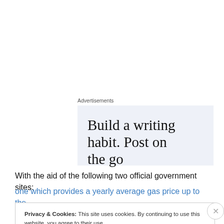[Figure (illustration): Advertisement banner with light blue-gray background showing text 'Build a writing habit. Post on the go' in large serif font, partially cropped]
With the aid of the following two official government sites:
one which provides a yearly average gas price up to the
Privacy & Cookies: This site uses cookies. By continuing to use this website, you agree to their use.
To find out more, including how to control cookies, see here: Cookie Policy
Close and accept